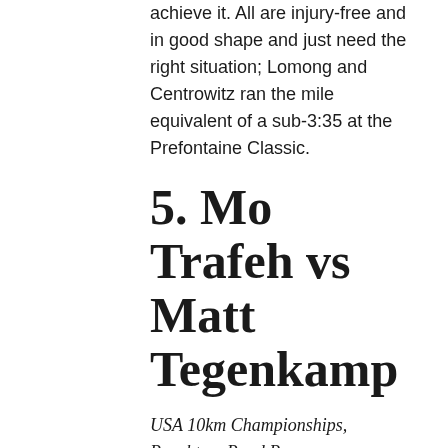achieve it. All are injury-free and in good shape and just need the right situation; Lomong and Centrowitz ran the mile equivalent of a sub-3:35 at the Prefontaine Classic.
5. Mo Trafeh vs Matt Tegenkamp
USA 10km Championships, Peachtree Road Race
Thursday, 7:30am ET, Atlanta GA
These two are my best guesses as to the contenders for the US title on Thursday, but it's a good field with most of the nation's top long-distance runners. There are top marathoners (Meb Keflezighi, Ryan Hall, Abdi Abdirahman), top roadies (Josephat Boit, Shadrack Biwott), up-and-comers (Bobby Mack, Luke Puskedra) and top club runners (Bobby Curtis, Jacob Riley, Brent Vaughn). The